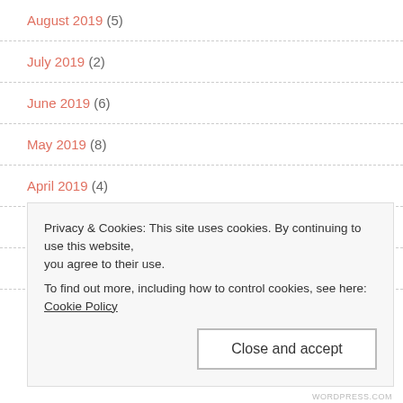August 2019 (5)
July 2019 (2)
June 2019 (6)
May 2019 (8)
April 2019 (4)
March 2019 (6)
February 2019 (2)
January 2019 (2)
Privacy & Cookies: This site uses cookies. By continuing to use this website, you agree to their use.
To find out more, including how to control cookies, see here: Cookie Policy
Close and accept